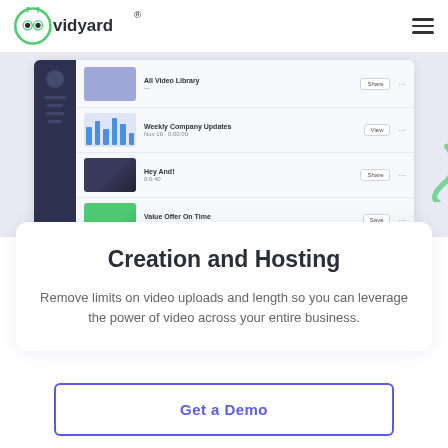[Figure (screenshot): Vidyard logo in navigation bar]
[Figure (screenshot): App interface screenshot showing a video library with thumbnails, titles, and action buttons in a dashboard UI]
Creation and Hosting
Remove limits on video uploads and length so you can leverage the power of video across your entire business.
Get a Demo